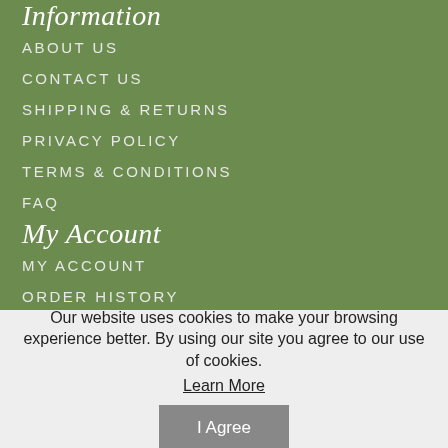Information
ABOUT US
CONTACT US
SHIPPING & RETURNS
PRIVACY POLICY
TERMS & CONDITIONS
FAQ
My Account
MY ACCOUNT
ORDER HISTORY
TRACK ORDERS
ADDRESS BOOK
Our website uses cookies to make your browsing experience better. By using our site you agree to our use of cookies.
Learn More
I Agree